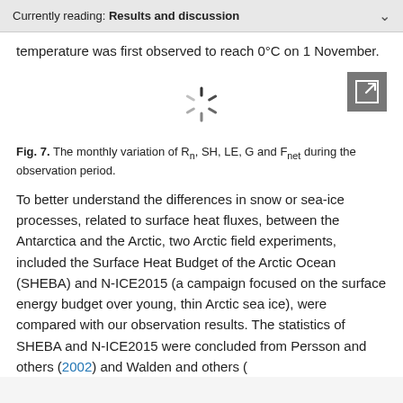Currently reading: Results and discussion
temperature was first observed to reach 0°C on 1 November.
[Figure (other): Loading spinner icon and expand/fullscreen button]
Fig. 7. The monthly variation of Rn, SH, LE, G and Fnet during the observation period.
To better understand the differences in snow or sea-ice processes, related to surface heat fluxes, between the Antarctica and the Arctic, two Arctic field experiments, included the Surface Heat Budget of the Arctic Ocean (SHEBA) and N-ICE2015 (a campaign focused on the surface energy budget over young, thin Arctic sea ice), were compared with our observation results. The statistics of SHEBA and N-ICE2015 were concluded from Persson and others (2002) and Walden and others (